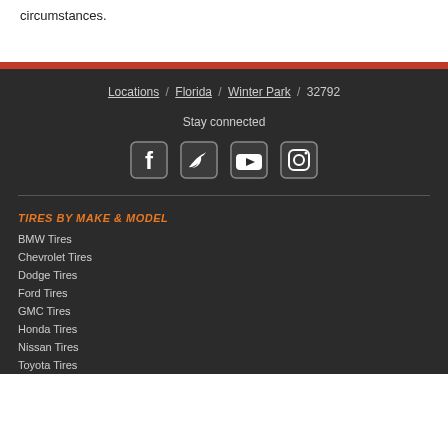circumstances.
Locations / Florida / Winter Park / 32792
Stay connected
[Figure (illustration): Social media icons: Facebook, Twitter, YouTube, Instagram]
TIRES BY MAKE & MODEL
BMW Tires
Chevrolet Tires
Dodge Tires
Ford Tires
GMC Tires
Honda Tires
Nissan Tires
Toyota Tires